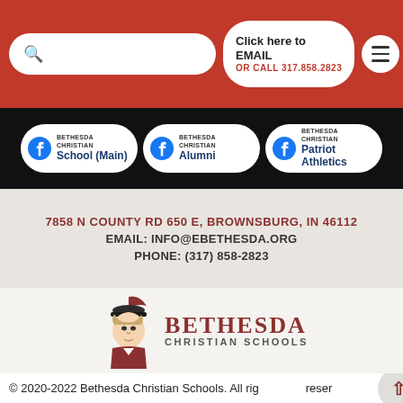[Figure (screenshot): Red header bar with search box, 'Click here to EMAIL / OR CALL 317.858.2823' button, and hamburger menu icon]
[Figure (infographic): Black bar with three Facebook social buttons: Bethesda Christian School (Main), Bethesda Christian Alumni, Bethesda Christian Patriot Athletics]
7858 N COUNTY RD 650 E, BROWNSBURG, IN 46112
EMAIL: INFO@EBETHESDA.ORG
PHONE: (317) 858-2823
[Figure (logo): Bethesda Christian Schools logo with patriot mascot illustration and text 'BETHESDA CHRISTIAN SCHOOLS']
© 2020-2022 Bethesda Christian Schools. All rights reserved.